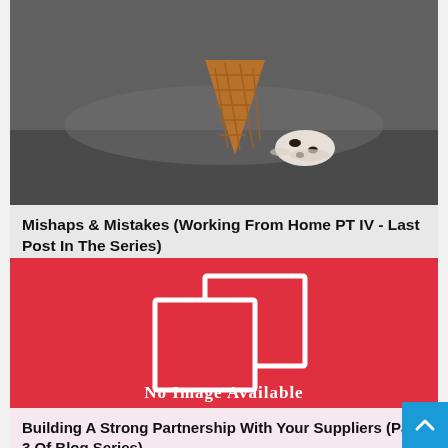[Figure (photo): Photo of a dropped ice cream cone on a dark surface, cone fallen over with ice cream scoop beside it]
Mishaps & Mistakes (Working From Home PT IV - Last Post In The Series)
[Figure (illustration): Red background with white overlapping rectangles icon and text 'No Image Available']
Building A Strong Partnership With Your Suppliers (Part 3 Of Blog Series)